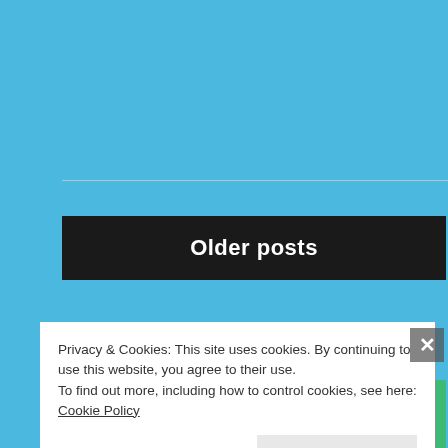[Figure (screenshot): Blue background page section with horizontal rule line]
Older posts
Search ...
SEARCH
Privacy & Cookies: This site uses cookies. By continuing to use this website, you agree to their use.
To find out more, including how to control cookies, see here: Cookie Policy
Close and accept